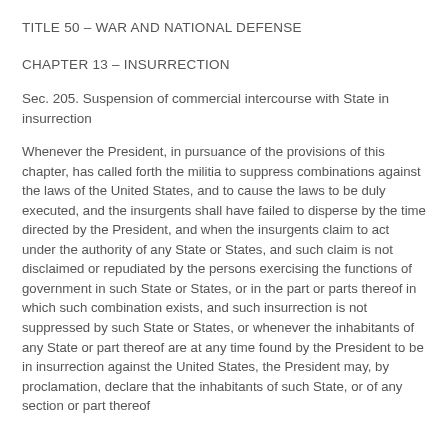TITLE 50 – WAR AND NATIONAL DEFENSE
CHAPTER 13 – INSURRECTION
Sec. 205. Suspension of commercial intercourse with State in insurrection
Whenever the President, in pursuance of the provisions of this chapter, has called forth the militia to suppress combinations against the laws of the United States, and to cause the laws to be duly executed, and the insurgents shall have failed to disperse by the time directed by the President, and when the insurgents claim to act under the authority of any State or States, and such claim is not disclaimed or repudiated by the persons exercising the functions of government in such State or States, or in the part or parts thereof in which such combination exists, and such insurrection is not suppressed by such State or States, or whenever the inhabitants of any State or part thereof are at any time found by the President to be in insurrection against the United States, the President may, by proclamation, declare that the inhabitants of such State, or of any section or part thereof